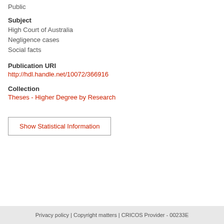Public
Subject
High Court of Australia
Negligence cases
Social facts
Publication URI
http://hdl.handle.net/10072/366916
Collection
Theses - Higher Degree by Research
Show Statistical Information
Privacy policy | Copyright matters | CRICOS Provider - 00233E